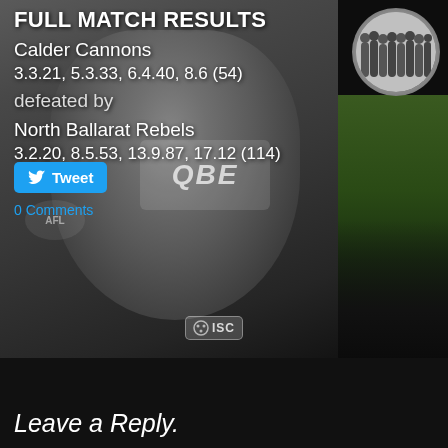[Figure (photo): Background photo of an AFL footballer wearing a grey jersey with QBE sponsor and ISC badge, dark background with jersey details visible]
[Figure (photo): Small circular team photo thumbnail in the top right corner, showing a group of players, with a locker room background below in green/yellow]
FULL MATCH RESULTS
Calder Cannons
3.3.21, 5.3.33, 6.4.40, 8.6 (54)
defeated by
North Ballarat Rebels
3.2.20, 8.5.53, 13.9.87, 17.12 (114)
Tweet
0 Comments
Leave a Reply.